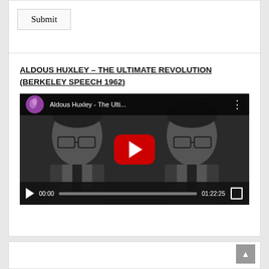Submit
ALDOUS HUXLEY – THE ULTIMATE REVOLUTION (BERKELEY SPEECH 1962)
[Figure (screenshot): YouTube video player screenshot showing 'Aldous Huxley - The Ulti...' with a black and white photo of Aldous Huxley mirrored on left and right sides, a red YouTube play button in the center, and video controls at the bottom showing 00:00 current time and 01:22:25 total duration with a progress bar.]